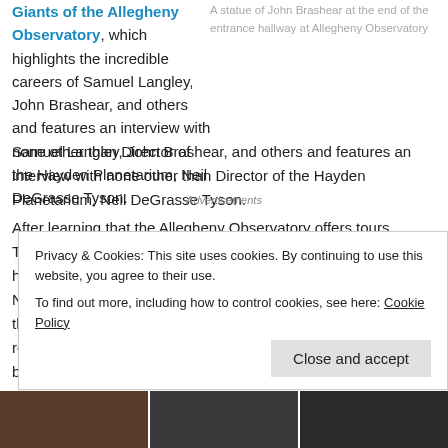Giants of the Allegheny Observatory, which highlights the incredible careers of Samuel Langley, John Brashear, and others and features an interview with none other than Director of the Hayden Planetarium, Neil DeGrasse Tyson.
A statue of John Brashear at the end of the entrance hallway at Allegheny Observatory
Advertisements
After learning that the Allegheny Observatory offers tours Thursdays and Fridays between April and October, we knew we had to experience it if we wanted to truly experience Perry North / Observatory Hill.  You may delight, as we did, in the fact that the tours are absolutely free of charge and only require a reservation.  More details are here, so don't wait another minute before booking
Privacy & Cookies: This site uses cookies. By continuing to use this website, you agree to their use.
To find out more, including how to control cookies, see here: Cookie Policy
Close and accept